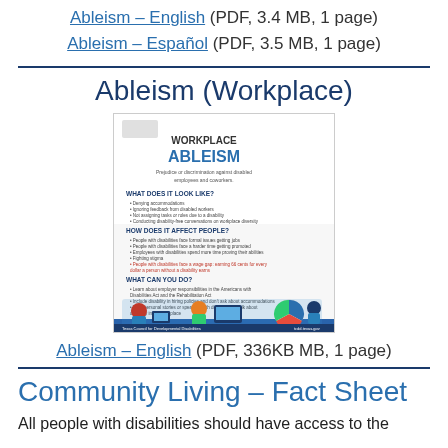Ableism – English (PDF, 3.4 MB, 1 page)
Ableism – Español (PDF, 3.5 MB, 1 page)
Ableism (Workplace)
[Figure (illustration): Thumbnail of a workplace ableism fact sheet document showing sections: WORKPLACE ABLEISM, What Does It Look Like?, How Does It Affect People?, What Can You Do?]
Ableism – English (PDF, 336KB MB, 1 page)
Community Living – Fact Sheet
All people with disabilities should have access to the